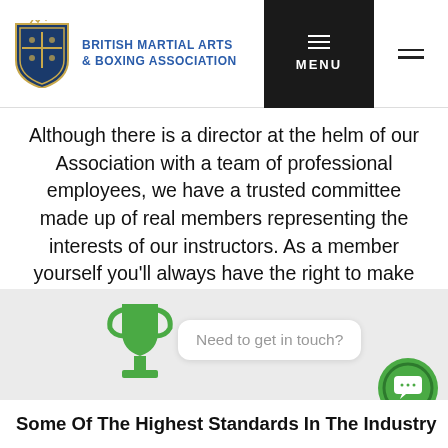BRITISH MARTIAL ARTS & BOXING ASSOCIATION — MENU
Although there is a director at the helm of our Association with a team of professional employees, we have a trusted committee made up of real members representing the interests of our instructors. As a member yourself you'll always have the right to make decisions on our future and the right to cast an equal vote on key matters.
[Figure (illustration): Green trophy icon with chat bubble saying 'Need to get in touch?' and a green circular chat button]
Some Of The Highest Standards In The Industry